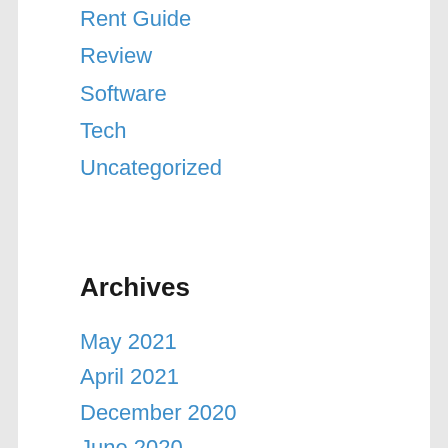Rent Guide
Review
Software
Tech
Uncategorized
Archives
May 2021
April 2021
December 2020
June 2020
May 2020